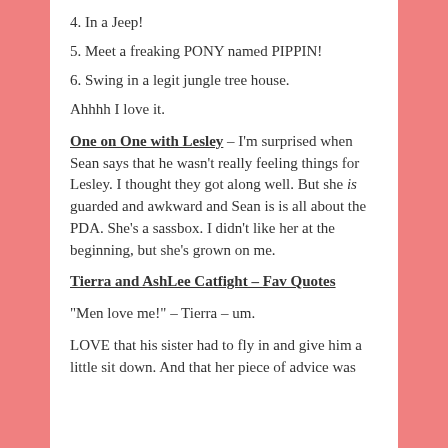4. In a Jeep!
5. Meet a freaking PONY named PIPPIN!
6. Swing in a legit jungle tree house.
Ahhhh I love it.
One on One with Lesley – I'm surprised when Sean says that he wasn't really feeling things for Lesley. I thought they got along well. But she is guarded and awkward and Sean is is all about the PDA. She's a sassbox. I didn't like her at the beginning, but she's grown on me.
Tierra and AshLee Catfight – Fav Quotes
“Men love me!” – Tierra – um.
LOVE that his sister had to fly in and give him a little sit down. And that her piece of advice was